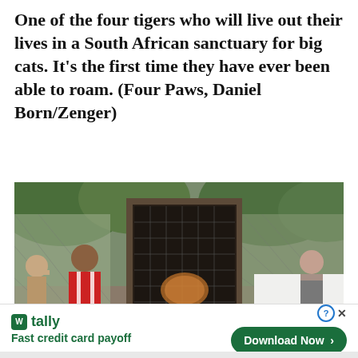One of the four tigers who will live out their lives in a South African sanctuary for big cats. It's the first time they have ever been able to roam. (Four Paws, Daniel Born/Zenger)
[Figure (photo): Photo of people standing near a large wire cage/gate enclosure at a wildlife sanctuary. Three people are visible: a woman on the left, a man in a red and white vest in the center, and a woman on the right peering over a fence. Trees are visible in the background. An 'infolinks' watermark badge appears in the bottom-left corner of the photo.]
[Figure (other): Advertisement for Tally app: green logo icon with 'W', 'tally' in green bold text, tagline 'Fast credit card payoff', and a dark green 'Download Now >' button on the right. Close/help buttons in top-right corner.]